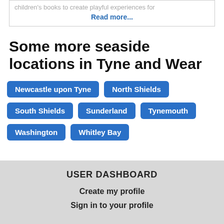children's books to create playful experiences for
Read more...
Some more seaside locations in Tyne and Wear
Newcastle upon Tyne
North Shields
South Shields
Sunderland
Tynemouth
Washington
Whitley Bay
USER DASHBOARD
Create my profile
Sign in to your profile